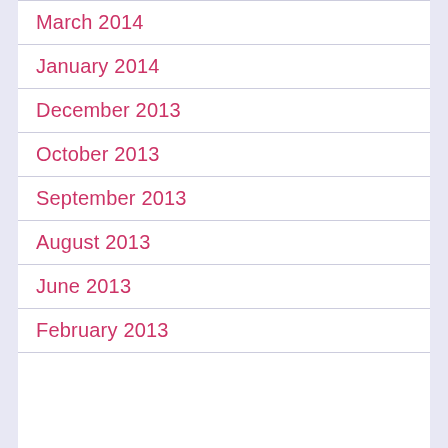March 2014
January 2014
December 2013
October 2013
September 2013
August 2013
June 2013
February 2013